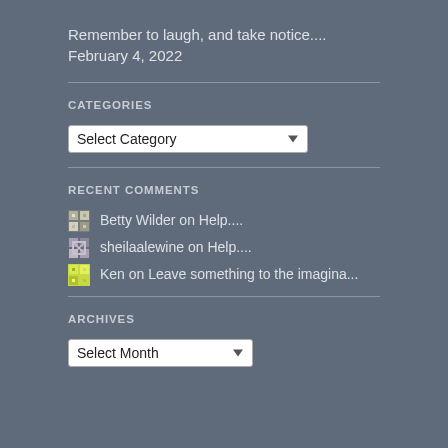Remember to laugh, and take notice.... February 4, 2022
CATEGORIES
[Figure (screenshot): Select Category dropdown box]
RECENT COMMENTS
Betty Wilder on Help....
sheilaalewine on Help....
Ken on Leave something to the imagina...
ARCHIVES
[Figure (screenshot): Select Month dropdown box]